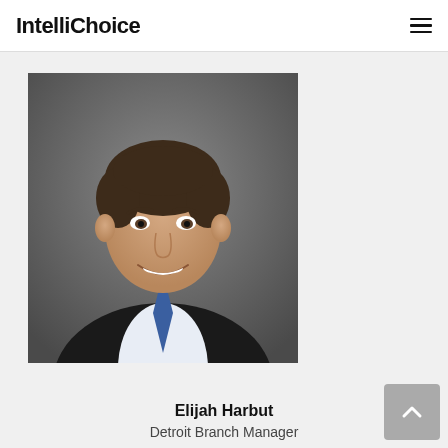IntelliChoice
[Figure (photo): Professional headshot of Elijah Harbut, a young man in a dark suit with a blue tie, smiling, against a grey background]
Elijah Harbut
Detroit Branch Manager